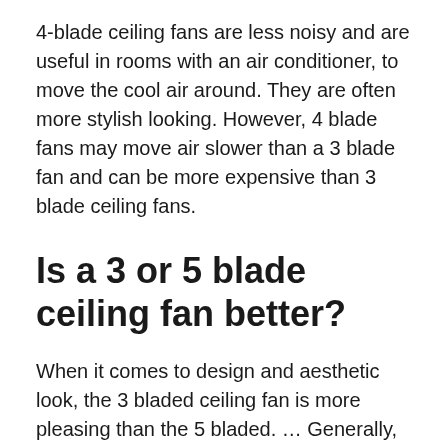4-blade ceiling fans are less noisy and are useful in rooms with an air conditioner, to move the cool air around. They are often more stylish looking. However, 4 blade fans may move air slower than a 3 blade fan and can be more expensive than 3 blade ceiling fans.
Is a 3 or 5 blade ceiling fan better?
When it comes to design and aesthetic look, the 3 bladed ceiling fan is more pleasing than the 5 bladed. … Generally, the more blades the ceiling fan has, the quieter it is and circulates less air. Ceiling fan with more blades can increase the drag on the motor